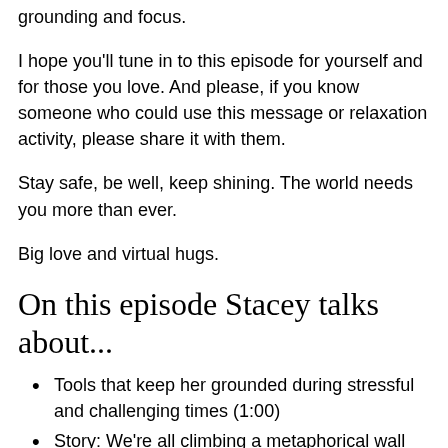grounding and focus.
I hope you'll tune in to this episode for yourself and for those you love. And please, if you know someone who could use this message or relaxation activity, please share it with them.
Stay safe, be well, keep shining. The world needs you more than ever.
Big love and virtual hugs.
On this episode Stacey talks about...
Tools that keep her grounded during stressful and challenging times (1:00)
Story: We're all climbing a metaphorical wall (2:38)
The importance of rest during stressful times (9:36)
Vulnerability, emotions and what I learned